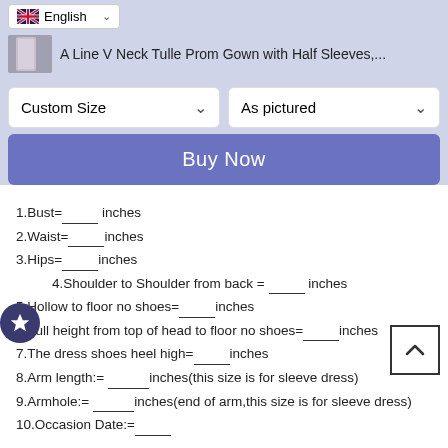English
A Line V Neck Tulle Prom Gown with Half Sleeves,...
[Figure (screenshot): Custom Size dropdown selector]
[Figure (screenshot): As pictured dropdown selector]
[Figure (screenshot): Buy Now button]
1.Bust=_____ inches
2.Waist=_____inches
3.Hips=_________inches
4.Shoulder to Shoulder from back = ___ inches
5.Hollow to floor no shoes=_________inches
6.Full height from top of head to floor no shoes=______inches
7.The dress shoes heel high=______inches
8.Arm length:= ___________inches(this size is for sleeve dress)
9.Armhole:= ___________inches(end of arm,this size is for sleeve dress)
10.Occasion Date:=_________
Write all your information in order note when you do an order .